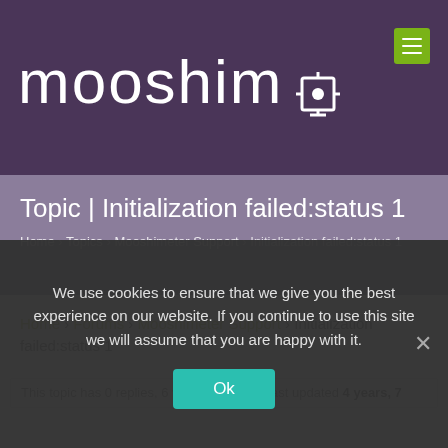mooshim⛶
Topic | Initialization failed:status 1
Home › Topics › Mooshimeter Support › Initialization failed:status 1
Home › Forums › Mooshimeter Support › Initialization failed:status 1
This topic has 0 replies, 6 voices, and was last updated 4 years, 7
We use cookies to ensure that we give you the best experience on our website. If you continue to use this site we will assume that you are happy with it.